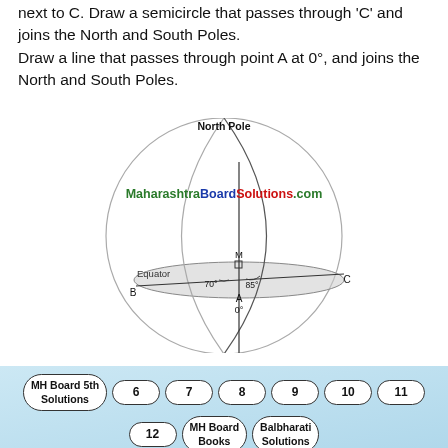next to C. Draw a semicircle that passes through 'C' and joins the North and South Poles.
Draw a line that passes through point A at 0°, and joins the North and South Poles.
[Figure (illustration): Diagram of a globe/sphere showing the Equator as an ellipse, the North Pole at top, points B, A (0°), C along the equator, point M above A, and angles 70° and 85° marked. A semicircle passes through C joining North and South Poles. Lines from B through A to C and a vertical line through A and M are drawn. Watermark text 'MaharashtraBoardSolutions.com' overlaid.]
MH Board 5th Solutions  6  7  8  9  10  11  12  MH Board Books  Balbharati Solutions